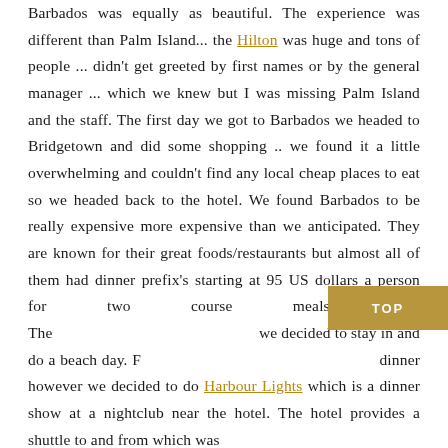Barbados was equally as beautiful. The experience was different than Palm Island... the Hilton was huge and tons of people ... didn't get greeted by first names or by the general manager ... which we knew but I was missing Palm Island and the staff. The first day we got to Barbados we headed to Bridgetown and did some shopping .. we found it a little overwhelming and couldn't find any local cheap places to eat so we headed back to the hotel. We found Barbados to be really expensive more expensive than we anticipated. They are known for their great foods/restaurants but almost all of them had dinner prefix's starting at 95 US dollars a person for two course meals!! 😕 The [next day] we decided to stay in and do a beach day. For dinner however we decided to do Harbour Lights which is a dinner show at a nightclub near the hotel. The hotel provides a shuttle to and from which was